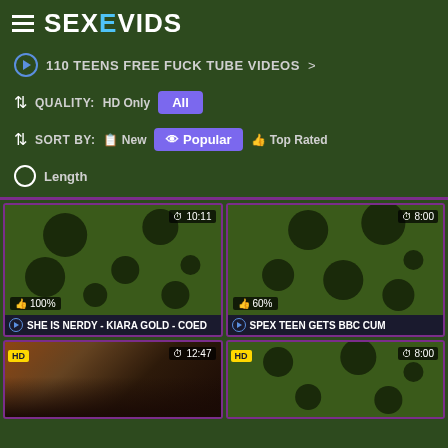SEXEVIDS
110 TEENS FREE FUCK TUBE VIDEOS >
QUALITY: HD Only | All
SORT BY: New | Popular | Top Rated
Length
[Figure (screenshot): Video thumbnail with dark olive background and black circles, time 10:11, rating 100%]
[Figure (screenshot): Video thumbnail with dark olive background and black circles, time 8:00, rating 60%]
SHE IS NERDY - KIARA GOLD - COED
SPEX TEEN GETS BBC CUM
[Figure (screenshot): HD video thumbnail showing person, time 12:47]
[Figure (screenshot): HD video thumbnail with dark olive background and black circles, time 8:00]